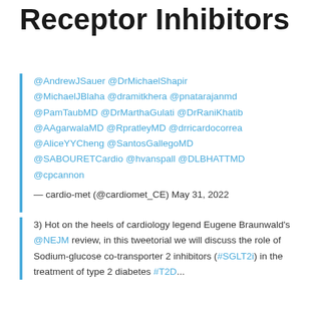Receptor Inhibitors
@AndrewJSauer @DrMichaelShapir @MichaelJBlaha @dramitkhera @pnatarajanmd @PamTaubMD @DrMarthaGulati @DrRaniKhatib @AAgarwalaMD @RpratleyMD @drricardocorrea @AliceYYCheng @SantosGallegoMD @SABOURETCardio @hvanspall @DLBHATTMD @cpcannon — cardio-met (@cardiomet_CE) May 31, 2022
3) Hot on the heels of cardiology legend Eugene Braunwald's @NEJM review, in this tweetorial we will discuss the role of Sodium-glucose co-transporter 2 inhibitors (#SGLT2i) in the treatment of type 2 diabetes #T2D...